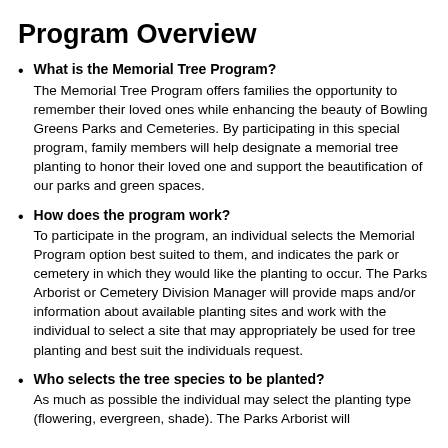Program Overview
What is the Memorial Tree Program?
The Memorial Tree Program offers families the opportunity to remember their loved ones while enhancing the beauty of Bowling Greens Parks and Cemeteries. By participating in this special program, family members will help designate a memorial tree planting to honor their loved one and support the beautification of our parks and green spaces.
How does the program work?
To participate in the program, an individual selects the Memorial Program option best suited to them, and indicates the park or cemetery in which they would like the planting to occur. The Parks Arborist or Cemetery Division Manager will provide maps and/or information about available planting sites and work with the individual to select a site that may appropriately be used for tree planting and best suit the individuals request.
Who selects the tree species to be planted?
As much as possible the individual may select the planting type (flowering, evergreen, shade). The Parks Arborist will